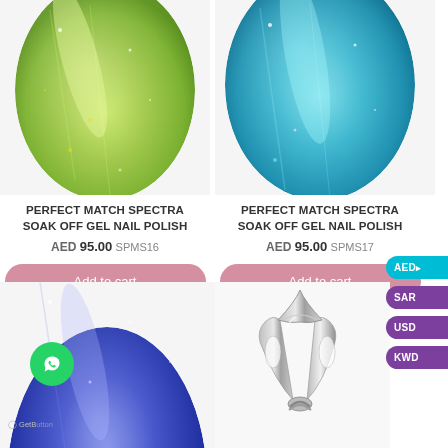[Figure (photo): Holographic green glitter nail polish swatch on a fingernail shape]
PERFECT MATCH SPECTRA SOAK OFF GEL NAIL POLISH
AED 95.00 SPMS16
Add to cart
[Figure (photo): Holographic teal/blue glitter nail polish swatch on a fingernail shape]
PERFECT MATCH SPECTRA SOAK OFF GEL NAIL POLISH
AED 95.00 SPMS17
Add to cart
[Figure (photo): Holographic blue/purple glitter nail polish swatch on a fingernail shape (bottom left)]
[Figure (photo): Metal nail cuticle clipper tool (bottom right)]
AED
SAR
USD
KWD